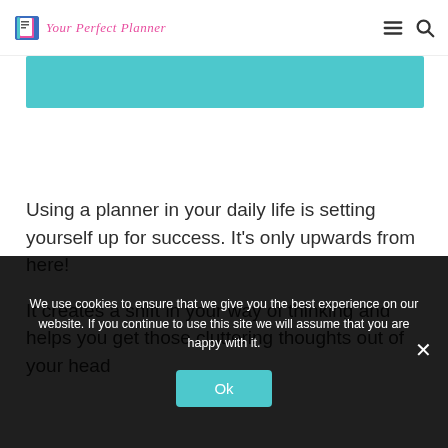Your Perfect Planner
[Figure (illustration): Teal/cyan colored banner rectangle below the navigation header]
Using a planner in your daily life is setting yourself up for success. It's only upwards from here!
It creates a shift in your way of thinking and helps you get those cluttering thoughts out of your head
We use cookies to ensure that we give you the best experience on our website. If you continue to use this site we will assume that you are happy with it.